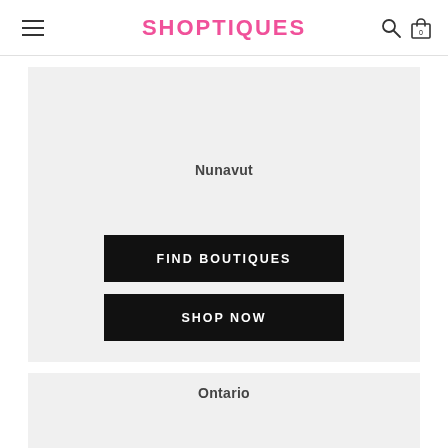SHOPTIQUES
Nunavut
FIND BOUTIQUES
SHOP NOW
Ontario